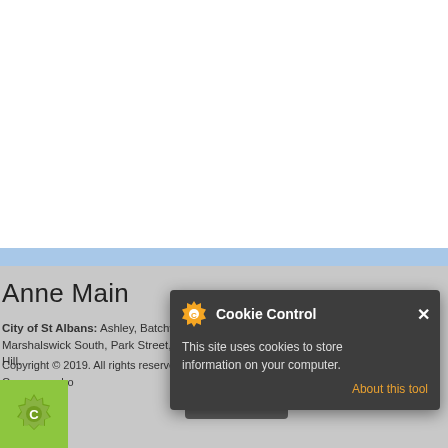[Figure (screenshot): White area representing top of webpage content]
Anne Main
City of St Albans: Ashley, Batchwood, Clarence, Colney Heath, Cunningham, London Colney, Marshalswick South, Park Street, St Peters, St Stephen, Sopwell, and Verulam, Thr... Hill.
Copyright © 2019. All rights reserved. This website is funded from Parliamentary allowances. Commons photos...
acy Notice
[Figure (screenshot): Cookie Control popup overlay with title 'Cookie Control', close button X, cookie gear icon, text 'This site uses cookies to store information on your computer.', 'About this tool' link in orange, and 'read more' button below in dark gray]